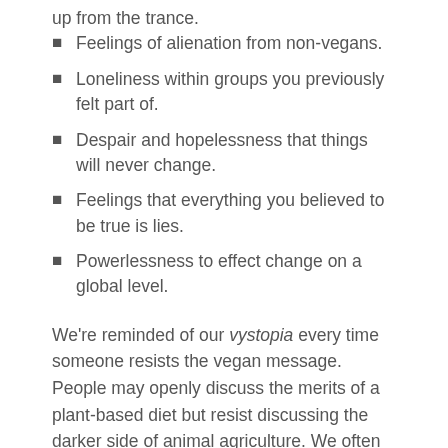up from the trance.
Feelings of alienation from non-vegans.
Loneliness within groups you previously felt part of.
Despair and hopelessness that things will never change.
Feelings that everything you believed to be true is lies.
Powerlessness to effect change on a global level.
We're reminded of our vystopia every time someone resists the vegan message. People may openly discuss the merits of a plant-based diet but resist discussing the darker side of animal agriculture. We often think they don't care when maybe it has more to do with their awareness that when they know